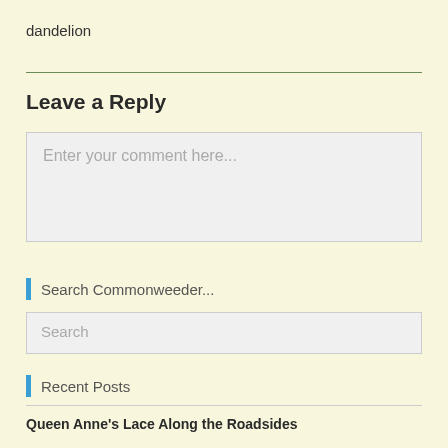dandelion
Leave a Reply
Enter your comment here...
Search Commonweeder...
Search
Recent Posts
Queen Anne's Lace Along the Roadsides